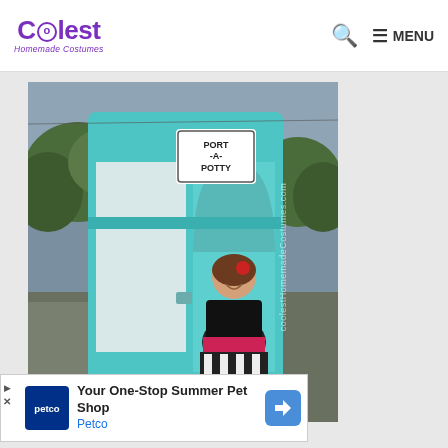Coolest Homemade Costumes — MENU
[Figure (photo): A girl wearing a homemade Port-A-Potty Halloween costume. She is standing inside a large teal/turquoise port-a-potty prop made from foam board or cardboard. The prop has a white arched door panel and the girl is visible through an opening. A sign reads PORT-A-POTTY. There is a watermark reading coolestHomemadeCostumes.com along the right side.]
[Figure (infographic): Advertisement banner for Petco: Your One-Stop Summer Pet Shop]